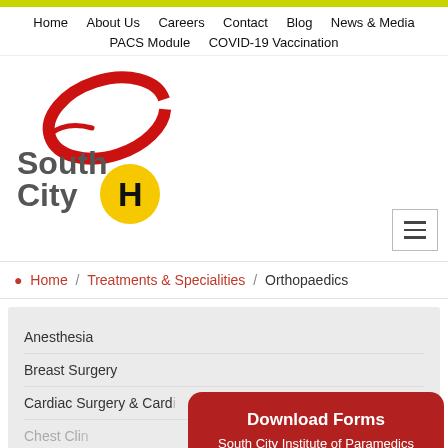Home  About Us  Careers  Contact  Blog  News & Media  PACS Module  COVID-19 Vaccination
[Figure (logo): South City Hospital logo with red swoosh graphic and yellow H emblem]
Home / Treatments & Specialities / Orthopaedics
Anesthesia
Breast Surgery
Cardiac Surgery & Cardi...
Chest Clinic...
Download Forms
South City Institute of Paramedics